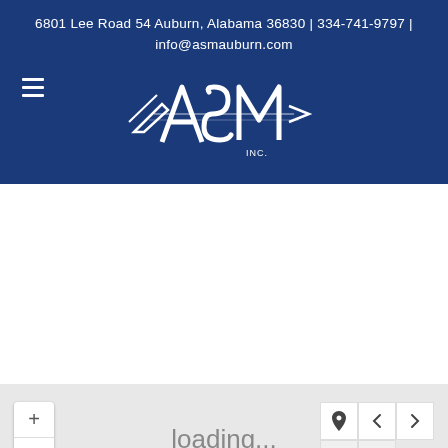6801 Lee Road 54 Auburn, Alabama 36830 | 334-741-9797 | info@asmauburn.com
[Figure (logo): ASM INC. company logo — white stylized letters on dark blue background with arrow/speed-line motif]
[Figure (map): Interactive map area showing 'loading...' text with zoom controls (+/-) on left and navigation/contact controls on right, on a light grey background]